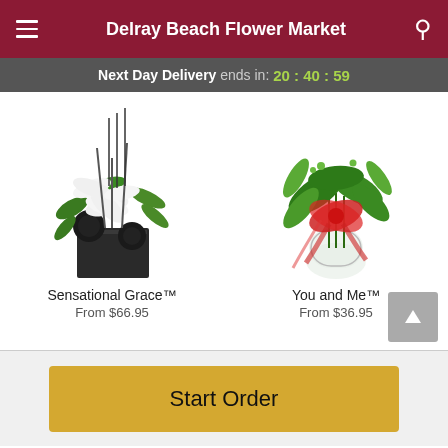Delray Beach Flower Market
Next Day Delivery ends in: 20 : 40 : 59
[Figure (photo): Flower arrangement: Sensational Grace - white lilies with dark decorative elements in a black square vase]
Sensational Grace™
From $66.95
[Figure (photo): Flower arrangement: You and Me - tropical green leaves with red bow/ribbon in a clear round vase]
You and Me™
From $36.95
Start Order